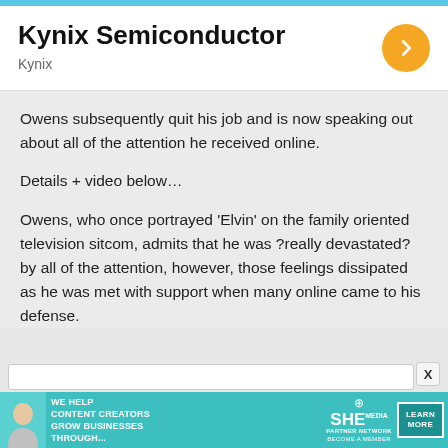[Figure (screenshot): Kynix Semiconductor advertisement card with orange arrow button and 'Kynix' subtitle]
Owens subsequently quit his job and is now speaking out about all of the attention he received online.
Details + video below…
Owens, who once portrayed 'Elvin' on the family oriented television sitcom, admits that he was ?really devastated? by all of the attention, however, those feelings dissipated as he was met with support when many online came to his defense.
[Figure (screenshot): SHE Partner Network banner ad: 'We help content creators grow businesses through...' with Learn More button]